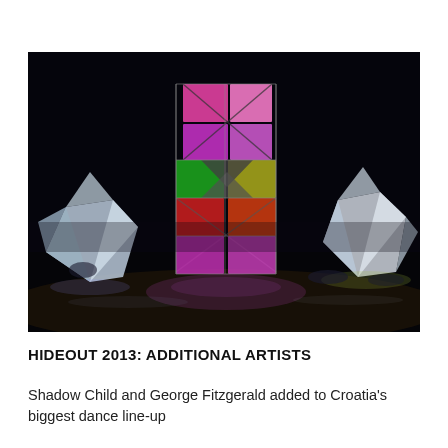[Figure (photo): Night-time festival scene featuring a large illuminated geometric installation structure with colorful lit panels (pink, purple, red, green, blue, yellow) in the center, flanked by two white geodesic/diamond-shaped tent structures on either side, set on a dark sandy area.]
HIDEOUT 2013: ADDITIONAL ARTISTS
Shadow Child and George Fitzgerald added to Croatia's biggest dance line-up